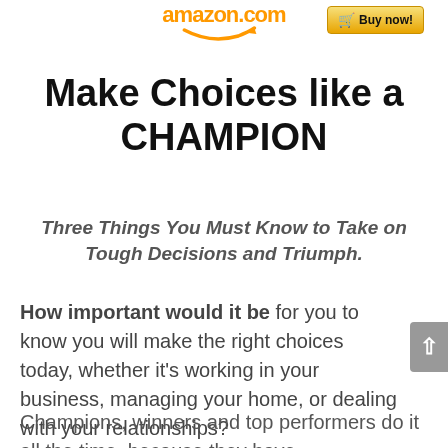amazon.com  Buy now!
Make Choices like a CHAMPION
Three Things You Must Know to Take on Tough Decisions and Triumph.
How important would it be for you to know you will make the right choices today, whether it's working in your business, managing your home, or dealing with your relationships?
Champions, winners and top performers do it all the time, because they have